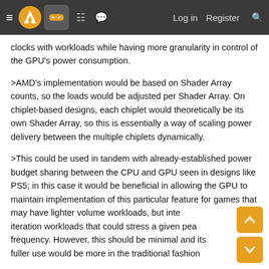≡ [logo] [gamepad icon] [building icon] [chat icon]   Log in   Register  🔍
clocks with workloads while having more granularity in control of the GPU's power consumption.
>AMD's implementation would be based on Shader Array counts, so the loads would be adjusted per Shader Array. On chiplet-based designs, each chiplet would theoretically be its own Shader Array, so this is essentially a way of scaling power delivery between the multiple chiplets dynamically.
>This could be used in tandem with already-established power budget sharing between the CPU and GPU seen in designs like PS5; in this case it would be beneficial in allowing the GPU to maintain implementation of this particular feature for games that may have lighter volume workloads, but intense iteration workloads that could stress a given peak frequency. However, this should be minimal and its fuller use would be more in the traditional fashion